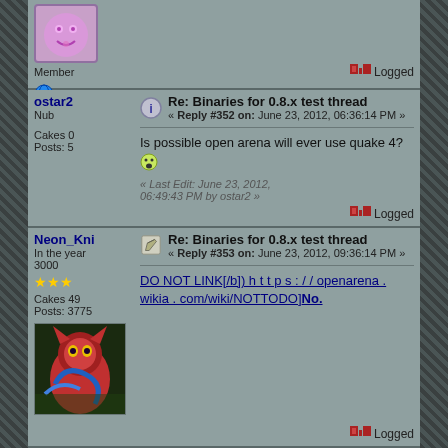Member
Logged
ostar2
Nub
Cakes 0
Posts: 5
Re: Binaries for 0.8.x test thread
« Reply #352 on: June 23, 2012, 06:36:14 PM »
Is possible open arena will ever use quake 4?
« Last Edit: June 23, 2012, 06:49:43 PM by ostar2 »
Logged
Neon_Kni
In the year 3000
Cakes 49
Posts: 3775
Re: Binaries for 0.8.x test thread
« Reply #353 on: June 23, 2012, 09:36:14 PM »
DO NOT LINK[/b]) h t t p s : / / openarena . wikia . com/wiki/NOTTODO]No.
Logged